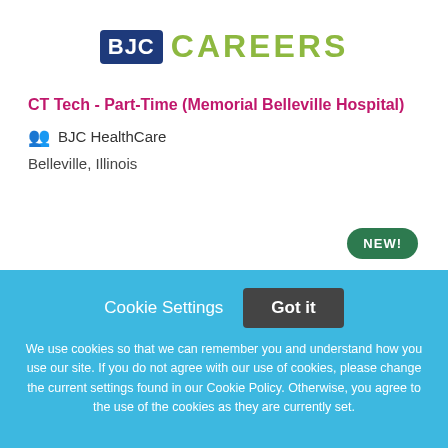[Figure (logo): BJC Careers logo with dark blue BJC box and olive/green CAREERS text]
CT Tech - Part-Time (Memorial Belleville Hospital)
BJC HealthCare
Belleville, Illinois
[Figure (other): NEW! badge in green oval]
Cookie Settings
Got it
We use cookies so that we can remember you and understand how you use our site. If you do not agree with our use of cookies, please change the current settings found in our Cookie Policy. Otherwise, you agree to the use of the cookies as they are currently set.